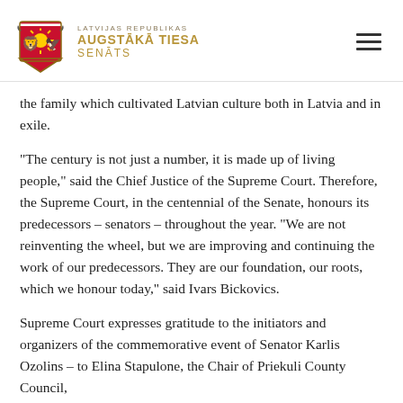LATVIJAS REPUBLIKAS AUGSTĀKĀ TIESA SENĀTS
the family which cultivated Latvian culture both in Latvia and in exile.
"The century is not just a number, it is made up of living people," said the Chief Justice of the Supreme Court. Therefore, the Supreme Court, in the centennial of the Senate, honours its predecessors – senators – throughout the year. "We are not reinventing the wheel, but we are improving and continuing the work of our predecessors. They are our foundation, our roots, which we honour today," said Ivars Bickovics.
Supreme Court expresses gratitude to the initiators and organizers of the commemorative event of Senator Karlis Ozolins – to Elina Stapulone, the Chair of Priekuli County Council, and its honorary Chair of the Supreme Court